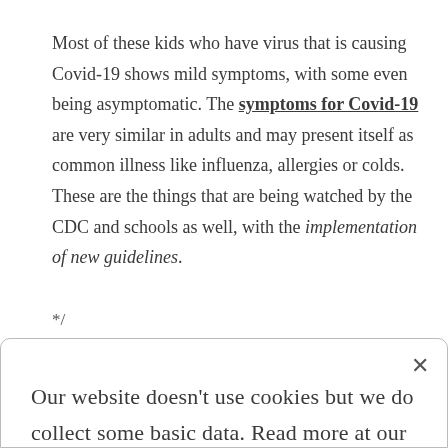Most of these kids who have virus that is causing Covid-19 shows mild symptoms, with some even being asymptomatic. The symptoms for Covid-19 are very similar in adults and may present itself as common illness like influenza, allergies or colds. These are the things that are being watched by the CDC and schools as well, with the implementation of new guidelines.
*/
Our website doesn't use cookies but we do collect some basic data. Read more at our